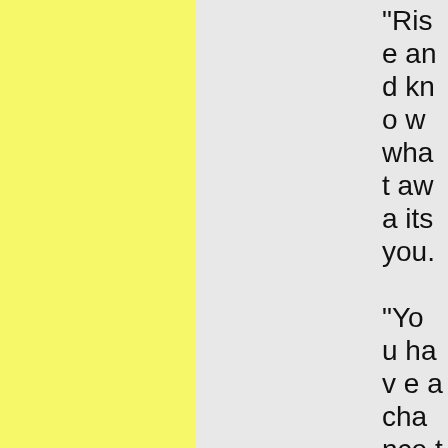"Rise and know what awaits you.

"You have a chance to redo as is outlined